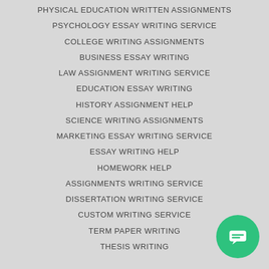PHYSICAL EDUCATION WRITTEN ASSIGNMENTS
PSYCHOLOGY ESSAY WRITING SERVICE
COLLEGE WRITING ASSIGNMENTS
BUSINESS ESSAY WRITING
LAW ASSIGNMENT WRITING SERVICE
EDUCATION ESSAY WRITING
HISTORY ASSIGNMENT HELP
SCIENCE WRITING ASSIGNMENTS
MARKETING ESSAY WRITING SERVICE
ESSAY WRITING HELP
HOMEWORK HELP
ASSIGNMENTS WRITING SERVICE
DISSERTATION WRITING SERVICE
CUSTOM WRITING SERVICE
TERM PAPER WRITING
THESIS WRITING